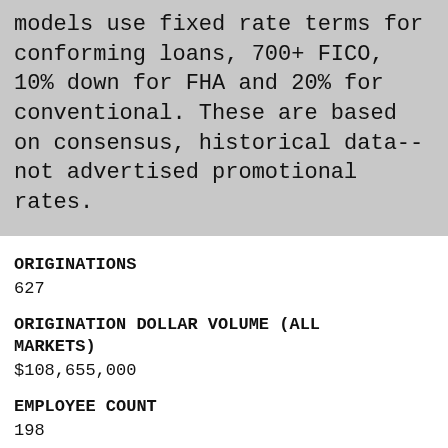models use fixed rate terms for conforming loans, 700+ FICO, 10% down for FHA and 20% for conventional. These are based on consensus, historical data-- not advertised promotional rates.
ORIGINATIONS
627
ORIGINATION DOLLAR VOLUME (ALL MARKETS)
$108,655,000
EMPLOYEE COUNT
198
AWARDS